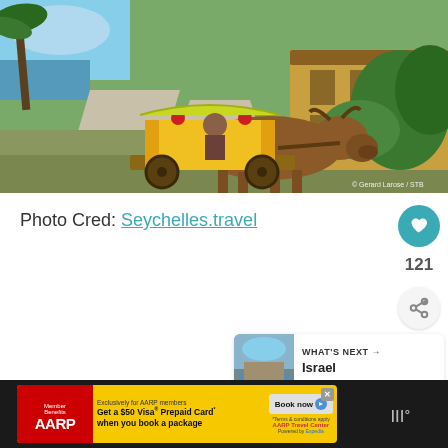[Figure (photo): Person riding a yellow ox cart with decorated sides, pulled by a brown ox on a tropical island road with palm trees, a wooden house, and lush greenery. Watermark reads: © Gerard Larose / STB]
Photo Cred: Seychelles.travel
[Figure (other): Heart (like) button in teal circle, like count 121, and share button]
[Figure (other): WHAT'S NEXT → Israel Reopens... thumbnail card]
[Figure (other): AARP advertisement banner: Exclusively for AARP members. Get a $50 Visa Prepaid Card when you book a package. Book now. AARP Travel Center powered by Expedia.]